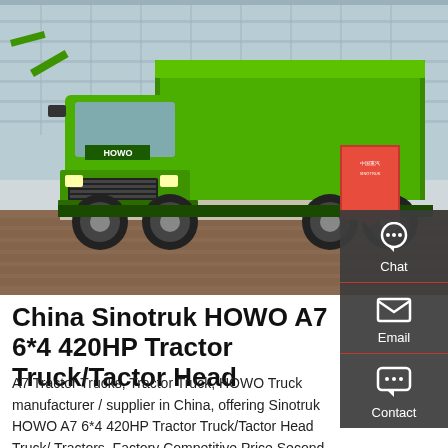[Figure (photo): A large bright green Sinotruk HOWO A7 dump truck / tractor truck parked in front of a modern glass building. The truck has a green cargo bed with tarp cover. A red promotional sign is visible near the rear of the truck.]
China Sinotruk HOWO A7 6*4 420HP Tractor Truck/Tactor Head
A7 Tractor Trucks, Tractor Truck, HOWO Truck manufacturer / supplier in China, offering Sinotruk HOWO A7 6*4 420HP Tractor Truck/Tactor Head Truck/ Tractors, Factory Competitive Price Second Hand Euro4 Euro5 HOWO T7 Sinotruk HOWO 6X4